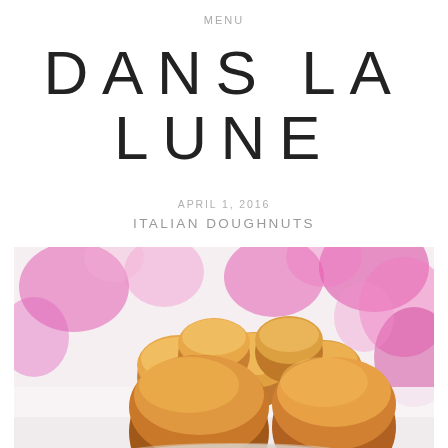MENU
DANS LA LUNE
APRIL 1, 2016
ITALIAN DOUGHNUTS
[Figure (photo): Photograph of golden-brown round Italian doughnuts (bomboloni) piled in a silver wire cake stand. The background features blurred pink floral pattern on white fabric.]